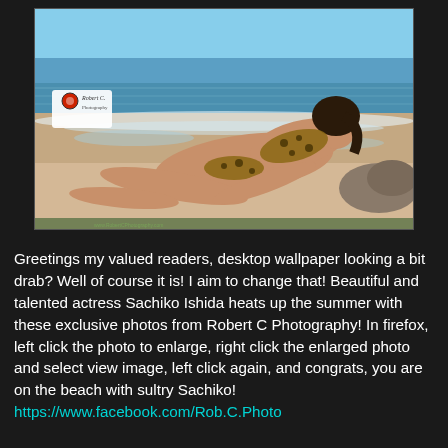[Figure (photo): Photograph of actress Sachiko Ishida in a leopard-print bikini lying on a beach with ocean waves behind her. A watermark reading 'Robert C. Photography' is visible in the lower-left of the photo.]
Greetings my valued readers, desktop wallpaper looking a bit drab? Well of course it is! I aim to change that! Beautiful and talented actress Sachiko Ishida heats up the summer with these exclusive photos from Robert C Photography! In firefox, left click the photo to enlarge, right click the enlarged photo and select view image, left click again, and congrats, you are on the beach with sultry Sachiko!
https://www.facebook.com/Rob.C.Photo